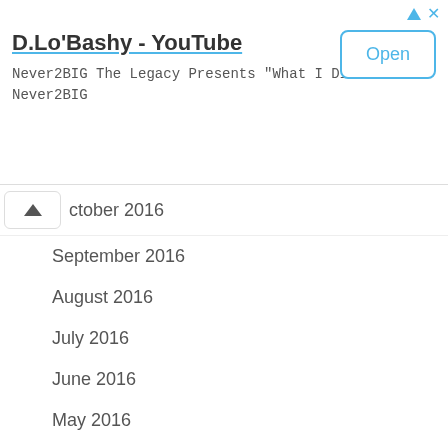[Figure (screenshot): Ad banner for D.Lo'Bashy YouTube channel with Open button]
October 2016
September 2016
August 2016
July 2016
June 2016
May 2016
April 2016
March 2016
February 2016
January 2016
December 2015
November 2015